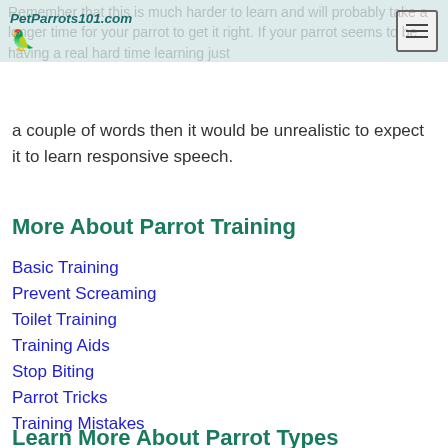PetParrots101.com
Remember that this is much harder to learn and will probably take a longer time for your parrot to get it right. If your parrot seems to be having a real hard time learning just a couple of words then it would be unrealistic to expect it to learn responsive speech.
More About Parrot Training
Basic Training
Prevent Screaming
Toilet Training
Training Aids
Stop Biting
Parrot Tricks
Training Mistakes
Learn More About Parrot Types